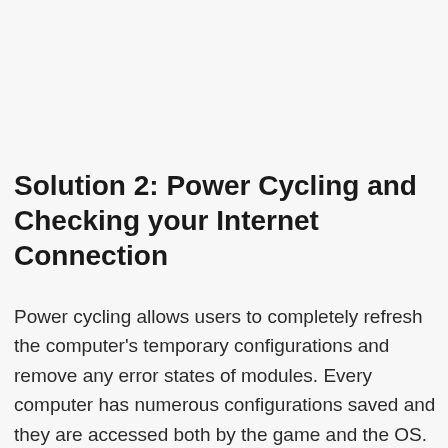Solution 2: Power Cycling and Checking your Internet Connection
Power cycling allows users to completely refresh the computer's temporary configurations and remove any error states of modules. Every computer has numerous configurations saved and they are accessed both by the game and the OS. If you haven't shut down your computer for a long time, some configurations might get corrupt and cause the error message under discussion. Here, we will completely refresh your computer by restarting it and see if the error resolved.